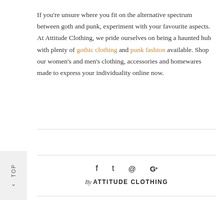If you're unsure where you fit on the alternative spectrum between goth and punk, experiment with your favourite aspects. At Attitude Clothing, we pride ourselves on being a haunted hub with plenty of gothic clothing and punk fashion available. Shop our women's and men's clothing, accessories and homewares made to express your individuality online now.
By ATTITUDE CLOTHING